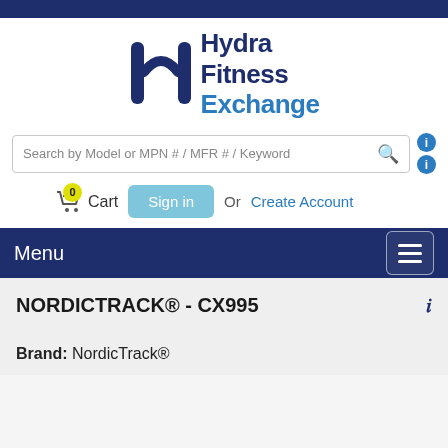[Figure (logo): Hydra Fitness Exchange logo with stylized H icon and text 'Hydra Fitness Exchange']
Search by Model or MPN # / MFR # / Keyword
0 Cart   Sign in   Or   Create Account
Menu
NORDICTRACK® - CX995
Brand: NordicTrack®